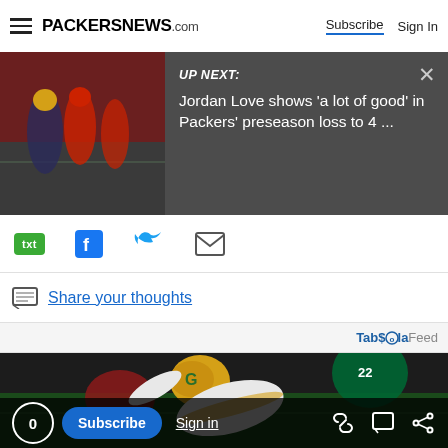PACKERSNEWS.com | Subscribe | Sign In
[Figure (screenshot): Video thumbnail showing Green Bay Packers and San Francisco 49ers players on field, with dark overlay banner reading UP NEXT: Jordan Love shows 'a lot of good' in Packers' preseason loss to 4 ...]
UP NEXT:
Jordan Love shows 'a lot of good' in Packers' preseason loss to 4 ...
Share your thoughts
TabÀla Feed
[Figure (photo): Green Bay Packers player in gold helmet diving/falling on football field during game against San Francisco 49ers]
0 Subscribe Sign in